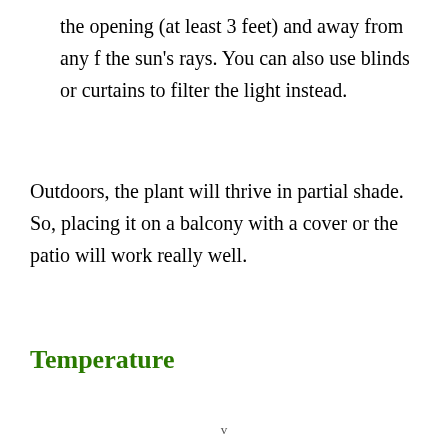the opening (at least 3 feet) and away from any f the sun's rays. You can also use blinds or curtains to filter the light instead.
Outdoors, the plant will thrive in partial shade. So, placing it on a balcony with a cover or the patio will work really well.
Temperature
v